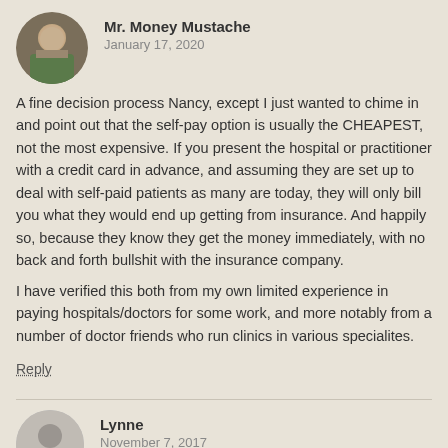[Figure (photo): Circular avatar photo of Mr. Money Mustache, a man outdoors]
Mr. Money Mustache
January 17, 2020
A fine decision process Nancy, except I just wanted to chime in and point out that the self-pay option is usually the CHEAPEST, not the most expensive. If you present the hospital or practitioner with a credit card in advance, and assuming they are set up to deal with self-paid patients as many are today, they will only bill you what they would end up getting from insurance. And happily so, because they know they get the money immediately, with no back and forth bullshit with the insurance company.
I have verified this both from my own limited experience in paying hospitals/doctors for some work, and more notably from a number of doctor friends who run clinics in various specialites.
Reply
[Figure (illustration): Circular grey silhouette avatar placeholder for Lynne]
Lynne
November 7, 2017
Yeah, and I mean, even setting aside whether